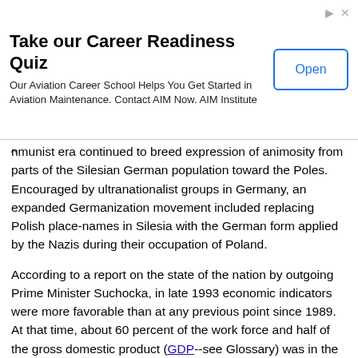[Figure (other): Advertisement banner: 'Take our Career Readiness Quiz' - Our Aviation Career School Helps You Get Started in Aviation Maintenance. Contact AIM Now. AIM Institute. With an 'Open' button.]
nmunist era continued to breed expression of animosity from parts of the Silesian German population toward the Poles. Encouraged by ultranationalist groups in Germany, an expanded Germanization movement included replacing Polish place-names in Silesia with the German form applied by the Nazis during their occupation of Poland.
According to a report on the state of the nation by outgoing Prime Minister Suchocka, in late 1993 economic indicators were more favorable than at any previous point since 1989. At that time, about 60 percent of the work force and half of the gross domestic product (GDP--see Glossary) was in the private sector, and an estimated 1.1 million new jobs had appeared in that sector since 1990. Projected GDP growth for 1994 was 4 to 4.5 percent, the highest estimate in all of Europe. Still, 2.8 million Poles, over 15 percent of the work force, were unemployed at the end of 1993. Economic growth was hindered by scarce credit, which stemmed from low bank reserves and a frequent failure to repay loans. The cost of social welfare continued to be high in 1993, and no change was forecast. In late 1993, some 6.5 million pensioners were supported